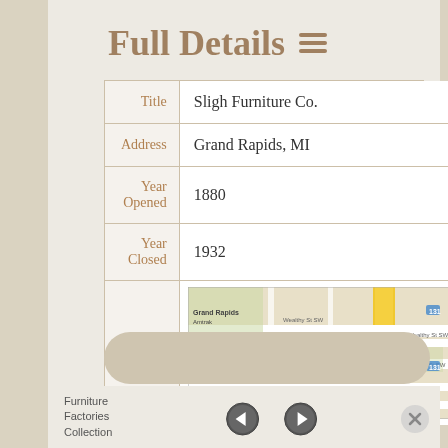Full Details ☰
| Field | Value |
| --- | --- |
| Title | Sligh Furniture Co. |
| Address | Grand Rapids, MI |
| Year Opened | 1880 |
| Year Closed | 1932 |
| Location | [Map of Grand Rapids, MI] |
Furniture Factories Collection
[Figure (map): Google Map showing location in Grand Rapids, MI with a red pin marker]